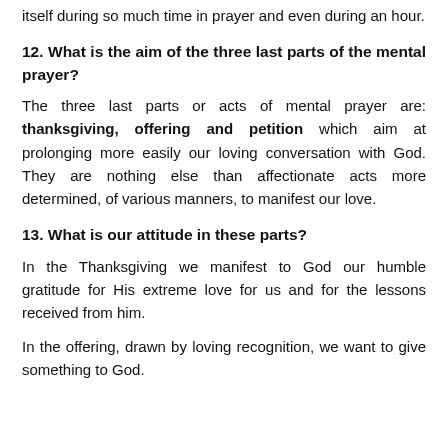itself during so much time in prayer and even during an hour.
12. What is the aim of the three last parts of the mental prayer?
The three last parts or acts of mental prayer are: thanksgiving, offering and petition which aim at prolonging more easily our loving conversation with God. They are nothing else than affectionate acts more determined, of various manners, to manifest our love.
13. What is our attitude in these parts?
In the Thanksgiving we manifest to God our humble gratitude for His extreme love for us and for the lessons received from him.
In the offering, drawn by loving recognition, we want to give something to God.